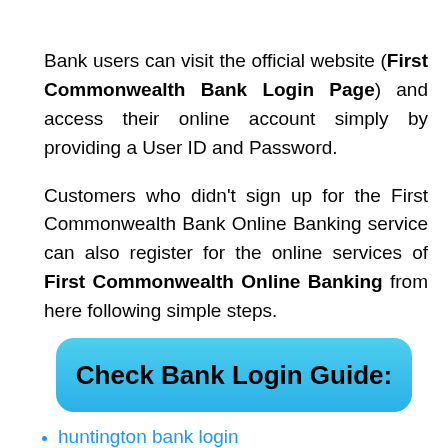Bank users can visit the official website (First Commonwealth Bank Login Page) and access their online account simply by providing a User ID and Password.

Customers who didn't sign up for the First Commonwealth Bank Online Banking service can also register for the online services of First Commonwealth Online Banking from here following simple steps.
[Figure (other): A blue rounded button with bold text reading 'Check Bank Login Guide:']
huntington bank login